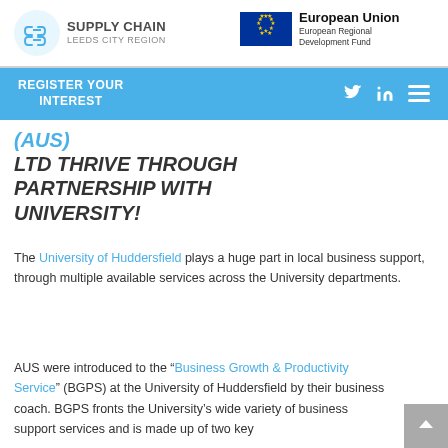[Figure (logo): Supply Chain Leeds City Region logo with blue chain link icon and text]
[Figure (logo): European Union European Regional Development Fund logo with EU flag]
REGISTER YOUR INTEREST
(AUS) LTD THRIVE THROUGH PARTNERSHIP WITH UNIVERSITY!
The University of Huddersfield plays a huge part in local business support, through multiple available services across the University departments.
AUS were introduced to the "Business Growth & Productivity Service" (BGPS) at the University of Huddersfield by their business coach. BGPS fronts the University's wide variety of business support services and is made up of two key